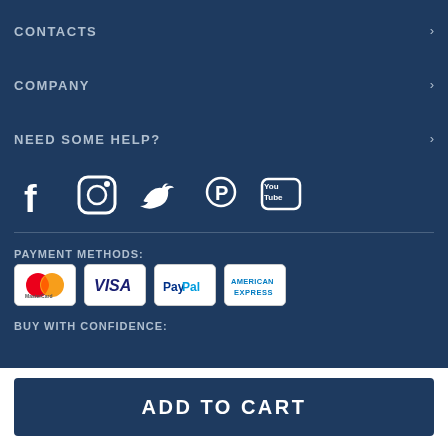CONTACTS
COMPANY
NEED SOME HELP?
[Figure (infographic): Social media icons: Facebook, Instagram, Twitter, Pinterest, YouTube]
PAYMENT METHODS:
[Figure (infographic): Payment method logos: MasterCard, VISA, PayPal, American Express]
BUY WITH CONFIDENCE:
ADD TO CART